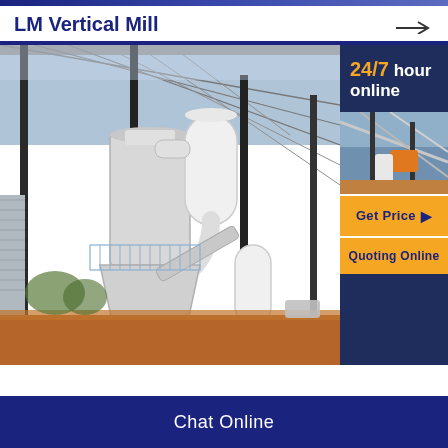LM Vertical Mill
[Figure (photo): Industrial LM Vertical Mill machinery installed inside a large steel-framed warehouse building, with white cyclone separators and conveyor systems visible, outdoor construction site surroundings with red earth.]
24/7 hour online
[Figure (photo): Small thumbnail photo of industrial mill equipment and steel structure framework.]
Get Price ▶
Quoting Online
Chat Online